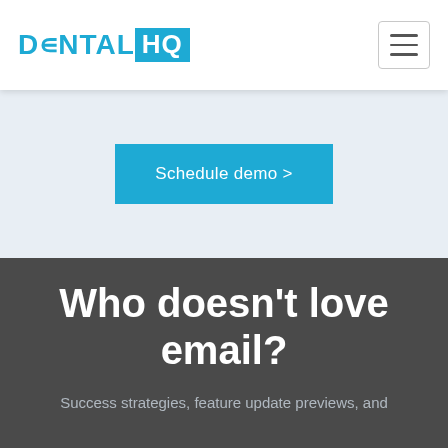DENTAL HQ
[Figure (screenshot): Schedule demo button on light blue-gray hero background]
Who doesn't love email?
Success strategies, feature update previews, and